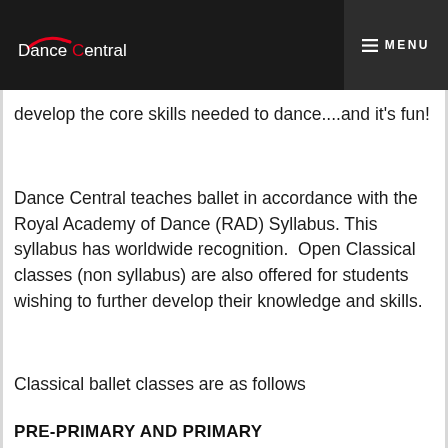Dance Central | MENU
develop the core skills needed to dance....and it's fun!
Dance Central teaches ballet in accordance with the Royal Academy of Dance (RAD) Syllabus. This syllabus has worldwide recognition.  Open Classical classes (non syllabus) are also offered for students wishing to further develop their knowledge and skills.
Classical ballet classes are as follows
PRE-PRIMARY AND PRIMARY